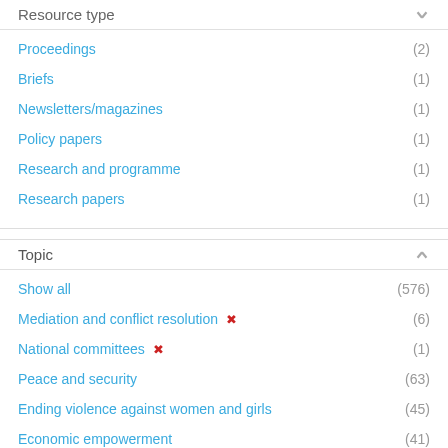Resource type
Proceedings (2)
Briefs (1)
Newsletters/magazines (1)
Policy papers (1)
Research and programme (1)
Research papers (1)
Topic
Show all (576)
Mediation and conflict resolution (6)
National committees (1)
Peace and security (63)
Ending violence against women and girls (45)
Economic empowerment (41)
Gender equality and women's empowerment (41)
Humanitarian action (38)